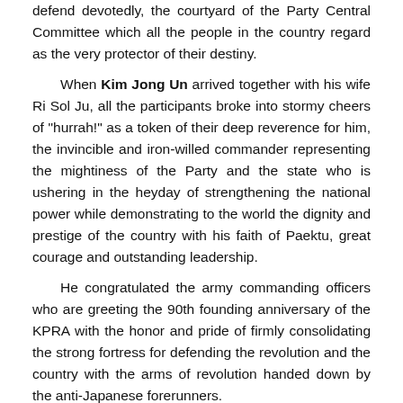defend devotedly, the courtyard of the Party Central Committee which all the people in the country regard as the very protector of their destiny.
When Kim Jong Un arrived together with his wife Ri Sol Ju, all the participants broke into stormy cheers of "hurrah!" as a token of their deep reverence for him, the invincible and iron-willed commander representing the mightiness of the Party and the state who is ushering in the heyday of strengthening the national power while demonstrating to the world the dignity and prestige of the country with his faith of Paektu, great courage and outstanding leadership.
He congratulated the army commanding officers who are greeting the 90th founding anniversary of the KPRA with the honor and pride of firmly consolidating the strong fortress for defending the revolution and the country with the arms of revolution handed down by the anti-Japanese forerunners.
Noting that succession to the revolution doesn't simply mean handing down something from one generation to